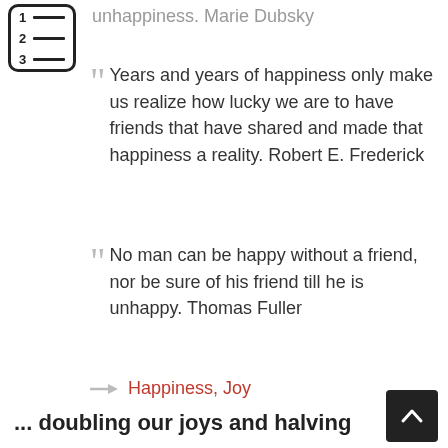[Figure (other): Table of contents icon — numbered list icon with three rows]
unhappiness.  Marie Dubsky
Years and years of happiness only make us realize how lucky we are to have friends that have shared and made that happiness a reality.  Robert E. Frederick
No man can be happy without a friend, nor be sure of his friend till he is unhappy.  Thomas Fuller
Happiness,  Joy
... doubling our joys and halving our sorrows
A sorrow shared is half a trouble, but joy that's shared is joy made double.  English
[Figure (other): Back to top button — dark square with upward chevron arrow]